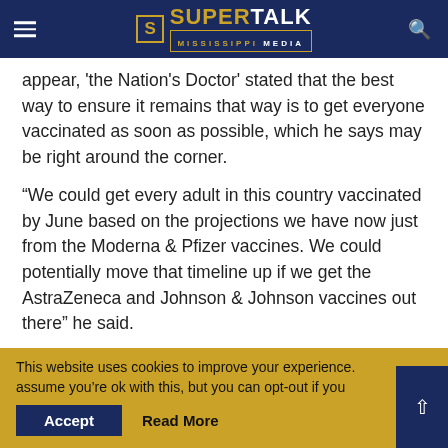SuperTalk Mississippi Media
appear, 'the Nation's Doctor' stated that the best way to ensure it remains that way is to get everyone vaccinated as soon as possible, which he says may be right around the corner.
“We could get every adult in this country vaccinated by June based on the projections we have now just from the Moderna & Pfizer vaccines. We could potentially move that timeline up if we get the AstraZeneca and Johnson & Johnson vaccines out there” he said.
In Mississippi, Dr. Dobbs continued to express the
This website uses cookies to improve your experience. assume you're ok with this, but you can opt-out if you
Accept   Read More